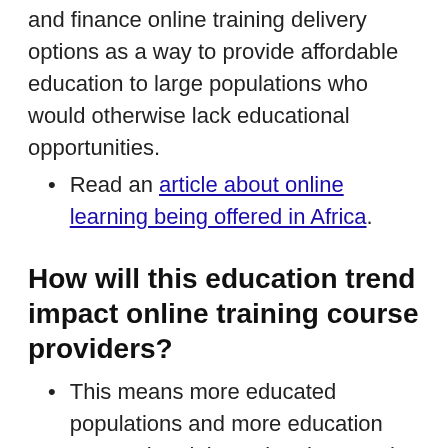and finance online training delivery options as a way to provide affordable education to large populations who would otherwise lack educational opportunities.
Read an article about online learning being offered in Africa.
How will this education trend impact online training course providers?
This means more educated populations and more education across the globe — it enhances the industry as well as the GNP and GDP of a country.